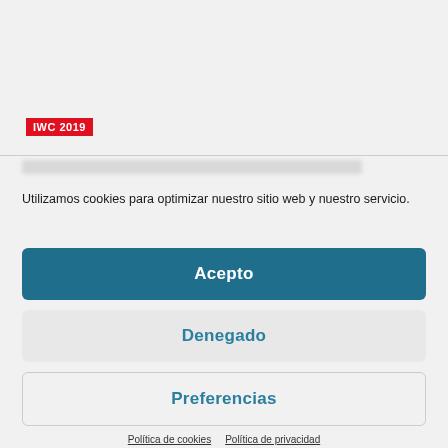[Figure (screenshot): Top section with IWC 2019 red badge label on a light gray background, partially obscured blurred text line below]
Utilizamos cookies para optimizar nuestro sitio web y nuestro servicio.
Acepto
Denegado
Preferencias
Política de cookies   Política de privacidad